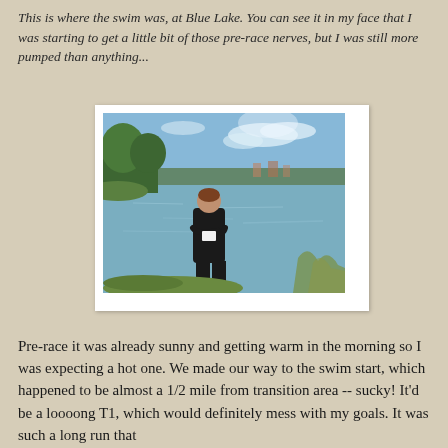This is where the swim was, at Blue Lake. You can see it in my face that I was starting to get a little bit of those pre-race nerves, but I was still more pumped than anything...
[Figure (photo): A person standing in dark clothing with arms crossed on the shore of Blue Lake, with trees on the left and calm water and distant treeline in the background under a partly cloudy blue sky.]
Pre-race it was already sunny and getting warm in the morning so I was expecting a hot one. We made our way to the swim start, which happened to be almost a 1/2 mile from transition area -- sucky! It'd be a loooong T1, which would definitely mess with my goals. It was such a long run that